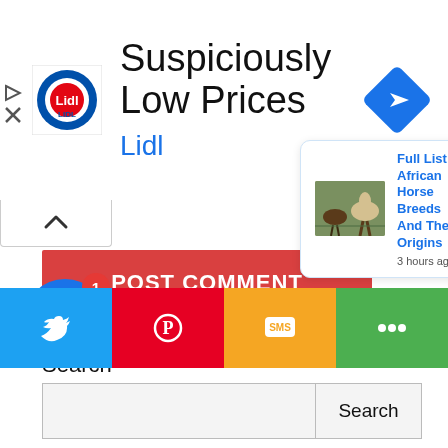[Figure (screenshot): Lidl advertisement banner with logo, 'Suspiciously Low Prices' headline, 'Lidl' subheading in blue, and a blue diamond navigation arrow icon on the right]
[Figure (screenshot): POST COMMENT button in red with white bold text, collapse/expand caret above it in a small white box]
Search
[Figure (screenshot): Search input field with light gray background and a Search button to the right]
Recent Po
[Figure (screenshot): Popup notification card showing 'Full List of African Horse Breeds And Their Origins' with a photo of horses and timestamp '3 hours ago', with a close X button]
[Figure (screenshot): Bottom share bar with Twitter (blue), Pinterest (red), SMS (orange/yellow), and share (green) icons. Also notification bell icon with badge showing 1.]